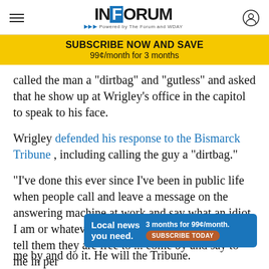INFORUM - Powered by The Forum and WDAY
SUBSCRIBE NOW AND SAVE 99¢/month for 3 months
called the man a "dirtbag" and "gutless" and asked that he show up at Wrigley's office in the capitol to speak to his face.
Wrigley defended his response to the Bismarck Tribune , including calling the guy a "dirtbag."
"I've done this ever since I've been in public life when people call and leave a message on the answering machine at work and say what an idiot I am or whatever, and I always call them back and tell them they are free to ... come by and say to me in per... me by and do it. He will the Tribune.
[Figure (infographic): Ad banner: Local news you need. 3 months for 99¢/month. SUBSCRIBE TODAY button.]